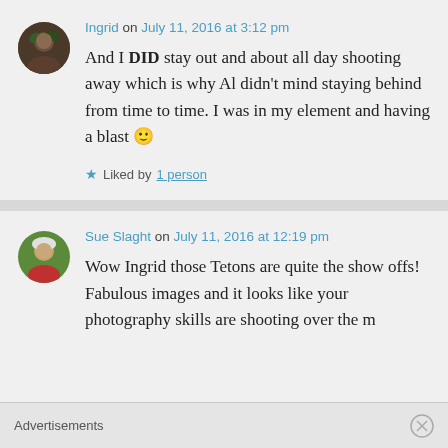Ingrid on July 11, 2016 at 3:12 pm
And I DID stay out and about all day shooting away which is why Al didn't mind staying behind from time to time. I was in my element and having a blast 🙂
★ Liked by 1 person
Sue Slaght on July 11, 2016 at 12:19 pm
Wow Ingrid those Tetons are quite the show offs! Fabulous images and it looks like your photography skills are shooting over the moon
Advertisements